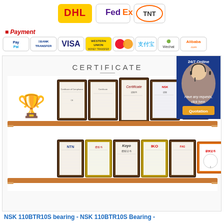[Figure (infographic): Shipping carrier logos: DHL, FedEx, TNT]
Payment
[Figure (infographic): Payment method logos: PayPal, Bank Transfer, VISA, Western Union, Mastercard, Alipay, Wechat, Alibaba.com]
[Figure (infographic): Certificate section showing CERTIFICATE heading with two shelves displaying framed certificates/awards including NTN, Koyo, IKO and other brand certifications, and a 24/7 Online customer service badge]
NSK 110BTR10S bearing - NSK 110BTR10S Bearing -